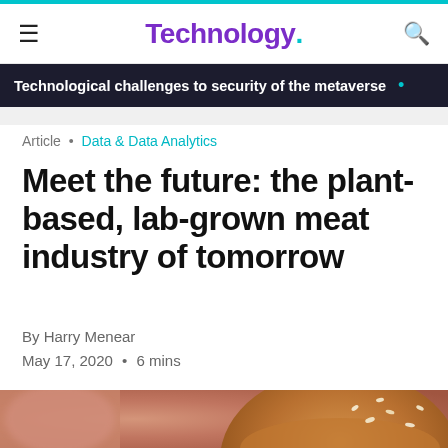Technology.
Technological challenges to security of the metaverse
Article • Data & Data Analytics
Meet the future: the plant-based, lab-grown meat industry of tomorrow
By Harry Menear
May 17, 2020 • 6 mins
[Figure (photo): Close-up blurred photo of a burger bun with sesame seeds]